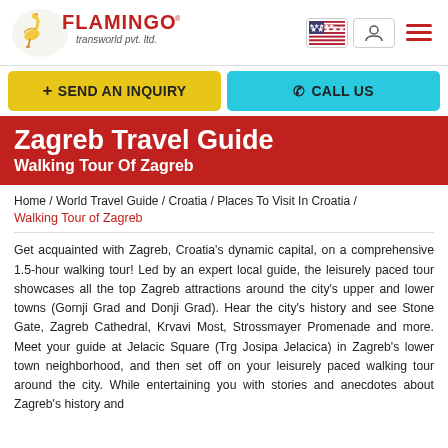[Figure (logo): Flamingo Transworld Pvt. Ltd. logo with flamingo bird icon and red FLAMINGO text]
SEND AN INQUIRY   CALL US
Zagreb Travel Guide
Walking Tour Of Zagreb
Home / World Travel Guide / Croatia / Places To Visit In Croatia / Walking Tour of Zagreb
Get acquainted with Zagreb, Croatia's dynamic capital, on a comprehensive 1.5-hour walking tour! Led by an expert local guide, the leisurely paced tour showcases all the top Zagreb attractions around the city's upper and lower towns (Gornji Grad and Donji Grad). Hear the city's history and see Stone Gate, Zagreb Cathedral, Krvavi Most, Strossmayer Promenade and more. Meet your guide at Jelacic Square (Trg Josipa Jelacica) in Zagreb's lower town neighborhood, and then set off on your leisurely paced walking tour around the city. While entertaining you with stories and anecdotes about Zagreb's history and